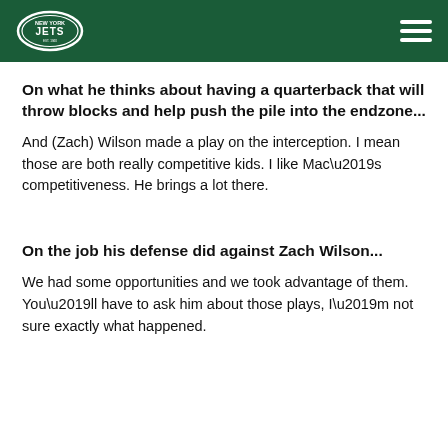New York Jets logo and navigation
On what he thinks about having a quarterback that will throw blocks and help push the pile into the endzone...
And (Zach) Wilson made a play on the interception. I mean those are both really competitive kids. I like Mac’s competitiveness. He brings a lot there.
On the job his defense did against Zach Wilson...
We had some opportunities and we took advantage of them. You’ll have to ask him about those plays, I’m not sure exactly what happened.